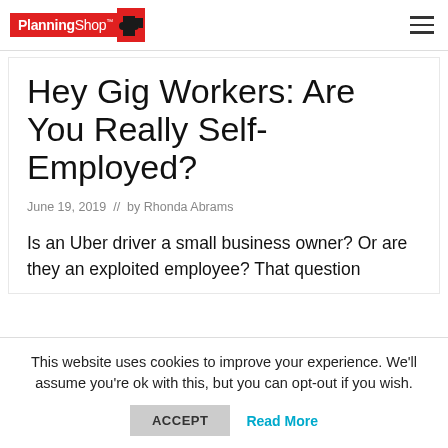PlanningShop™ [logo with hamburger menu]
Hey Gig Workers: Are You Really Self-Employed?
June 19, 2019  //  by Rhonda Abrams
Is an Uber driver a small business owner? Or are they an exploited employee? That question
This website uses cookies to improve your experience. We'll assume you're ok with this, but you can opt-out if you wish.
ACCEPT  Read More